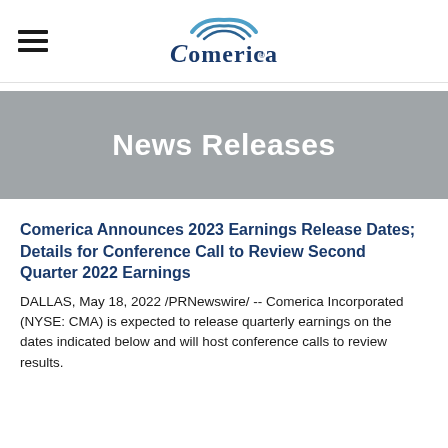[Figure (logo): Comerica logo with stylized wave arc above the text]
News Releases
Comerica Announces 2023 Earnings Release Dates; Details for Conference Call to Review Second Quarter 2022 Earnings
DALLAS, May 18, 2022 /PRNewswire/ -- Comerica Incorporated (NYSE: CMA) is expected to release quarterly earnings on the dates indicated below and will host conference calls to review results.